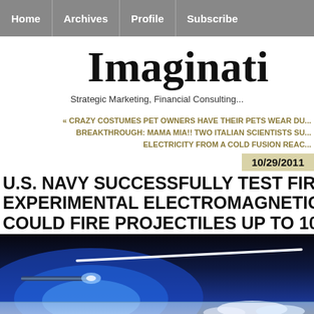Home | Archives | Profile | Subscribe
Imaginati...
Strategic Marketing, Financial Consulting...
« CRAZY COSTUMES PET OWNERS HAVE THEIR PETS WEAR DU...
BREAKTHROUGH: MAMA MIA!! TWO ITALIAN SCIENTISTS SU...
ELECTRICITY FROM A COLD FUSION REAC...
10/29/2011
U.S. NAVY SUCCESSFULLY TEST FIRE... EXPERIMENTAL ELECTROMAGNETIC... COULD FIRE PROJECTILES UP TO 100...
[Figure (photo): Illustration of an electromagnetic railgun firing a projectile, showing a dark background with blue arc/plasma and a white projectile streak, with water/clouds in foreground.]